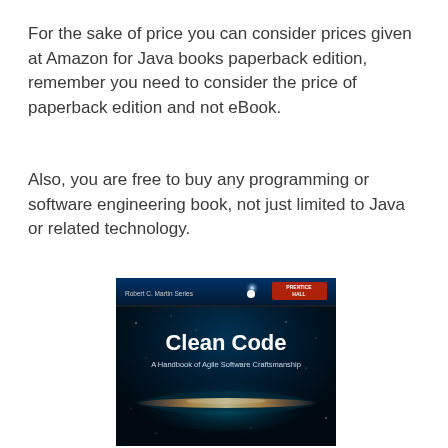For the sake of price you can consider prices given at Amazon for Java books paperback edition, remember you need to consider the price of paperback edition and not eBook.
Also, you are free to buy any programming or software engineering book, not just limited to Java or related technology.
[Figure (photo): Book cover of 'Clean Code: A Handbook of Agile Software Craftsmanship' by Robert C. Martin Series, published by Prentice Hall. Dark space-themed cover with a galaxy image and bold white text.]